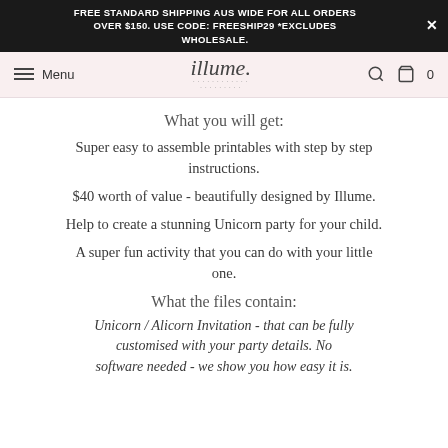FREE STANDARD SHIPPING AUS WIDE FOR ALL ORDERS OVER $150. USE CODE: FREESHIP29 *EXCLUDES WHOLESALE.
illume — Menu | Search | Cart 0
What you will get:
Super easy to assemble printables with step by step instructions.
$40 worth of value - beautifully designed by Illume.
Help to create a stunning Unicorn party for your child.
A super fun activity that you can do with your little one.
What the files contain:
Unicorn / Alicorn Invitation - that can be fully customised with your party details. No software needed - we show you how easy it is.